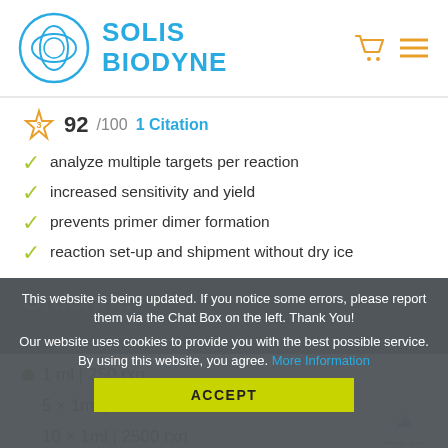[Figure (logo): Solis BioDyne logo with circular blue abstract emblem and blue text reading SOLIS BIODYNE, plus cart and menu icons in amber/yellow]
92 /100   1 Citation
analyze multiple targets per reaction
increased sensitivity and yield
prevents primer dimer formation
reaction set-up and shipment without dry ice
This website is being updated. If you notice some errors, please report them via the Chat Box on the left. Thank You!
Our website uses cookies to provide you with the best possible service. By using this website, you agree. More Information
ACCEPT
Ordering
Choose Product Size
1 ml | 250 rxn
5 x 1ml | 1250 rxn
10 x 1ml | 2500 rxn